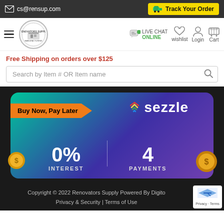cs@rensup.com
Track Your Order
[Figure (logo): Renovators Supply Manufacturing circular logo]
LIVE CHAT ONLINE | wishlist | Login | Cart
Free Shipping on orders over $125
Search by Item # OR Item name
[Figure (infographic): Sezzle Buy Now Pay Later banner: 0% Interest, 4 Payments]
Copyright © 2022 Renovators Supply Powered By Digito | Privacy & Security | Terms of Use